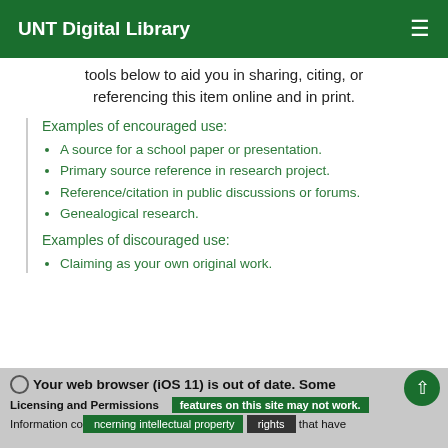UNT Digital Library
tools below to aid you in sharing, citing, or referencing this item online and in print.
Examples of encouraged use:
A source for a school paper or presentation.
Primary source reference in research project.
Reference/citation in public discussions or forums.
Genealogical research.
Examples of discouraged use:
Claiming as your own original work.
Your web browser (iOS 11) is out of date. Some features on this site may not work.
Licensing and Permissions
Information concerning intellectual property rights that have